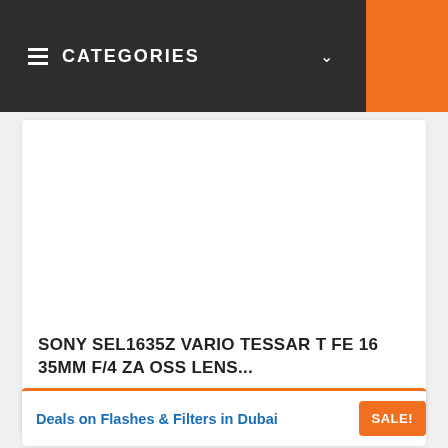CATEGORIES
[Figure (other): Product image area — white/blank product photo placeholder for Sony SEL1635Z lens]
SONY SEL1635Z VARIO TESSAR T FE 16 35MM F/4 ZA OSS LENS...
AED5,499  AED4,949
Deals on Flashes & Filters in Dubai  SALE!